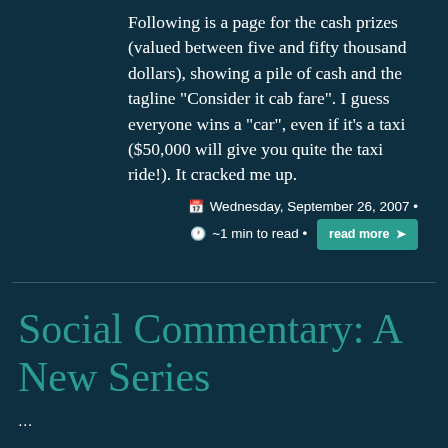Following is a page for the cash prizes (valued between five and fifty thousand dollars), showing a pile of cash and the tagline "Consider it cab fare". I guess everyone wins a "car", even if it's a taxi ($50,000 will give you quite the taxi ride!). It cracked me up.
Wednesday, September 26, 2007 · ~1 min to read · read more
Social Commentary: A New Series
...